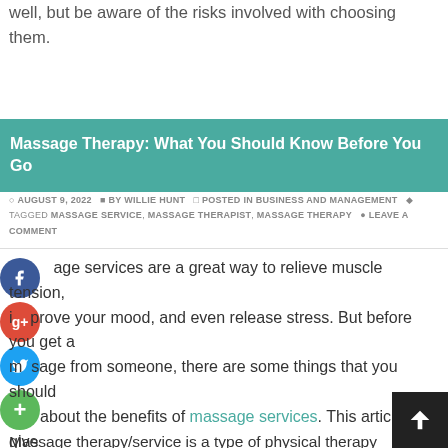well, but be aware of the risks involved with choosing them.
Massage Therapy: What You Should Know Before You Go
© AUGUST 9, 2022  BY WILLIE HUNT  POSTED IN BUSINESS AND MANAGEMENT  TAGGED MASSAGE SERVICE, MASSAGE THERAPIST, MASSAGE THERAPY  LEAVE A COMMENT
Massage services are a great way to relieve muscle tension, improve your mood, and even release stress. But before you get a massage from someone, there are some things that you should know about the benefits of massage services. This article will give you the basics about how massages can help you – whether it be for your body or mind.
Massage therapy/service is a type of physical therapy that uses